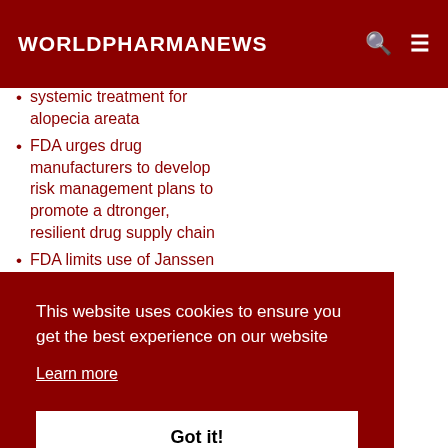WORLDPHARMANEWS
systemic treatment for alopecia areata
FDA urges drug manufacturers to develop risk management plans to promote a dtronger, resilient drug supply chain
FDA limits use of Janssen COVID-19 vaccine to certain individuals
This website uses cookies to ensure you get the best experience on our website
Learn more
Got it!